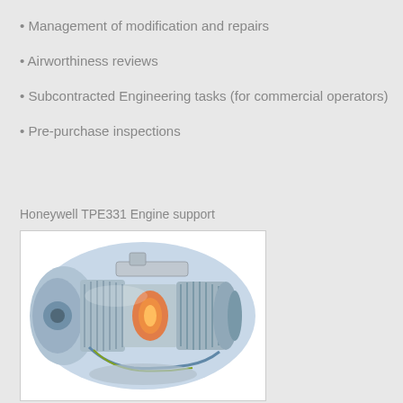• Management of modification and repairs
• Airworthiness reviews
• Subcontracted Engineering tasks (for commercial operators)
• Pre-purchase inspections
Honeywell TPE331 Engine support
[Figure (photo): Cutaway/cross-section illustration of a Honeywell TPE331 turboprop engine showing internal components including compressor stages, turbine, gearbox, and combustor in detailed mechanical illustration style.]